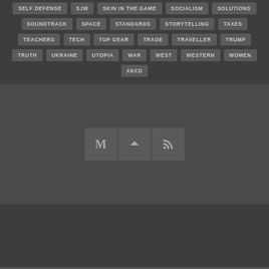SELF DEFENSE
SJW
SKIN IN THE GAME
SOCIALISM
SOLUTIONS
SOUNDTRACK
SPACE
STANDARDS
STORYTELLING
TAXES
TEACHERS
TECH
TOP GEAR
TRADE
TRAVELLER
TRUMP
TRUTH
UKRAINE
UTOPIA
WAR
WEST
WESTERN
WOMEN
XKCD
[Figure (infographic): Three icon buttons: M (Medium), up chevron (back to top), RSS feed icon]